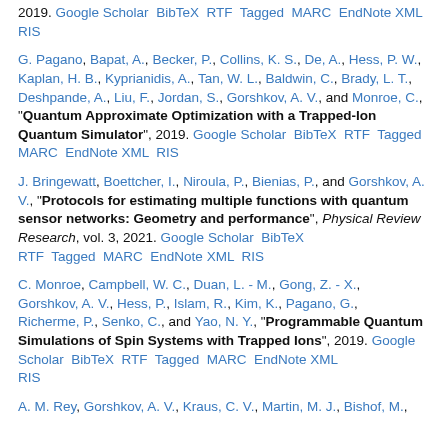2019. Google Scholar BibTeX RTF Tagged MARC EndNote XML RIS
G. Pagano, Bapat, A., Becker, P., Collins, K. S., De, A., Hess, P. W., Kaplan, H. B., Kyprianidis, A., Tan, W. L., Baldwin, C., Brady, L. T., Deshpande, A., Liu, F., Jordan, S., Gorshkov, A. V., and Monroe, C., "Quantum Approximate Optimization with a Trapped-Ion Quantum Simulator", 2019. Google Scholar BibTeX RTF Tagged MARC EndNote XML RIS
J. Bringewatt, Boettcher, I., Niroula, P., Bienias, P., and Gorshkov, A. V., "Protocols for estimating multiple functions with quantum sensor networks: Geometry and performance", Physical Review Research, vol. 3, 2021. Google Scholar BibTeX RTF Tagged MARC EndNote XML RIS
C. Monroe, Campbell, W. C., Duan, L. - M., Gong, Z. - X., Gorshkov, A. V., Hess, P., Islam, R., Kim, K., Pagano, G., Richerme, P., Senko, C., and Yao, N. Y., "Programmable Quantum Simulations of Spin Systems with Trapped Ions", 2019. Google Scholar BibTeX RTF Tagged MARC EndNote XML RIS
A. M. Rey, Gorshkov, A. V., Kraus, C. V., Martin, M. J., Bishof, M.,